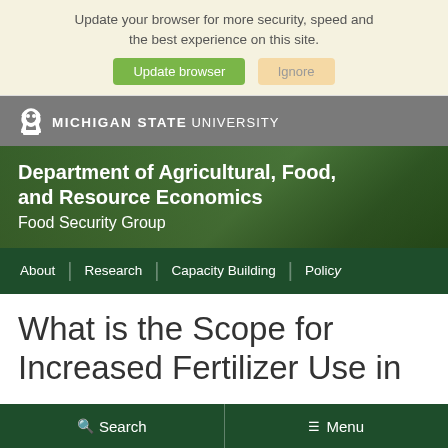Update your browser for more security, speed and the best experience on this site.
[Figure (screenshot): Michigan State University Department of Agricultural, Food, and Resource Economics - Food Security Group website header with navigation bar showing About, Research, Capacity Building, Policy links]
What is the Scope for Increased Fertilizer Use in
Search   Menu